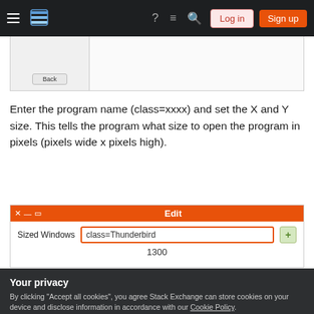Stack Exchange navigation bar with Log in and Sign up buttons
[Figure (screenshot): Partial screenshot of a settings dialog showing a list panel on the left and content on the right with a Back button]
Enter the program name (class=xxxx) and set the X and Y size. This tells the program what size to open the program in pixels (pixels wide x pixels high).
[Figure (screenshot): Screenshot of an Edit dialog showing 'Sized Windows' label with a text input containing 'class=Thunderbird', a + button, and '1300' value below]
Your privacy
By clicking "Accept all cookies", you agree Stack Exchange can store cookies on your device and disclose information in accordance with our Cookie Policy.
Accept all cookies
Customize settings
should open where and how big you want it to